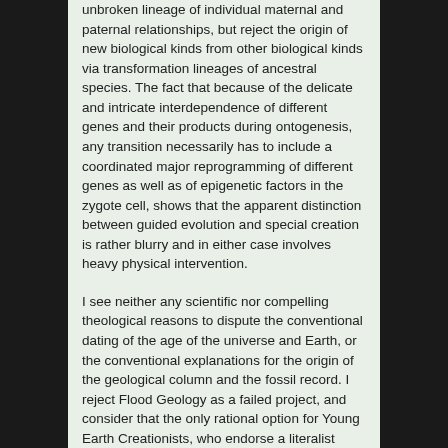unbroken lineage of individual maternal and paternal relationships, but reject the origin of new biological kinds from other biological kinds via transformation lineages of ancestral species. The fact that because of the delicate and intricate interdependence of different genes and their products during ontogenesis, any transition necessarily has to include a coordinated major reprogramming of different genes as well as of epigenetic factors in the zygote cell, shows that the apparent distinction between guided evolution and special creation is rather blurry and in either case involves heavy physical intervention.
I see neither any scientific nor compelling theological reasons to dispute the conventional dating of the age of the universe and Earth, or the conventional explanations for the origin of the geological column and the fossil record. I reject Flood Geology as a failed project, and consider that the only rational option for Young Earth Creationists, who endorse a literalist interpretation of Genesis 1-11, would be to appeal to